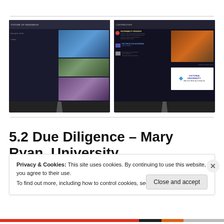[Figure (photo): Two photographs of flat-screen TVs mounted on stands showing presentation slides. Left TV shows a slide titled 'Future of Research' with website screenshots and team photos. Right TV shows a 'Contributors' slide listing institutions including Victoria University.]
5.2 Due Diligence – Mary Ryan, University
Privacy & Cookies: This site uses cookies. By continuing to use this website, you agree to their use.
To find out more, including how to control cookies, see here: Cookie Policy
Close and accept